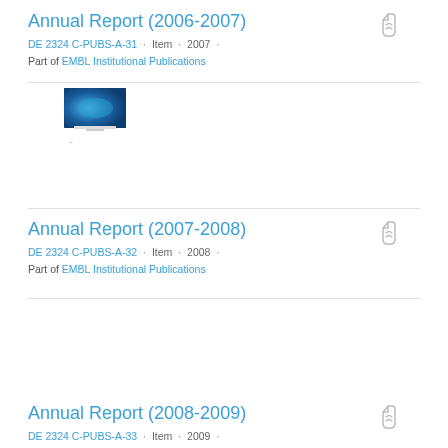Annual Report (2006-2007)
DE 2324 C-PUBS-A-31 · Item · 2007 ·
Part of EMBL Institutional Publications
[Figure (screenshot): Thumbnail image of Annual Report 2006-2007 cover showing blue/teal imagery]
Annual Report (2007-2008)
DE 2324 C-PUBS-A-32 · Item · 2008 ·
Part of EMBL Institutional Publications
Annual Report (2008-2009)
DE 2324 C-PUBS-A-33 · Item · 2009 ·
Part of EMBL Institutional Publications